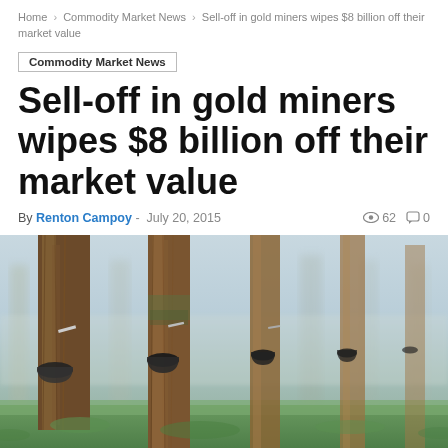Home > Commodity Market News > Sell-off in gold miners wipes $8 billion off their market value
Commodity Market News
Sell-off in gold miners wipes $8 billion off their market value
By Renton Campoy - July 20, 2015  62  0
[Figure (photo): Row of rubber trees in a misty forest, each with a black collection cup attached to the trunk to collect sap/latex, green grass in the foreground]